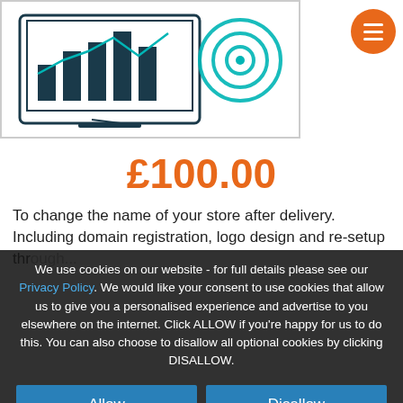[Figure (illustration): Illustration of analytics dashboard on devices with bar charts, line charts, and wifi signal icon, with a hamburger menu button in orange circle top right]
£100.00
To change the name of your store after delivery. Including domain registration, logo design and re-setup thr...
We use cookies on our website - for full details please see our Privacy Policy. We would like your consent to use cookies that allow us to give you a personalised experience and advertise to you elsewhere on the internet. Click ALLOW if you're happy for us to do this. You can also choose to disallow all optional cookies by clicking DISALLOW.